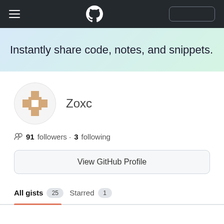GitHub Gist navigation bar with hamburger menu, GitHub logo, and search box
Instantly share code, notes, and snippets.
[Figure (illustration): Zoxc GitHub avatar: circular icon with a cross/plus shape in a beige/tan color on white background]
Zoxc
91 followers · 3 following
View GitHub Profile
All gists 25   Starred 1